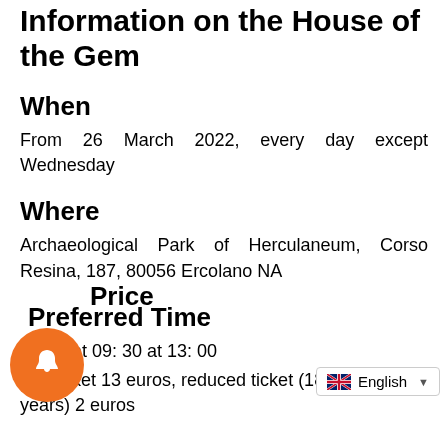Information on the House of the Gem
When
From 26 March 2022, every day except Wednesday
Where
Archaeological Park of Herculaneum, Corso Resina, 187, 80056 Ercolano NA
Preferred Time
Starts at 09: 30 at 13: 00
Price
Full ticket 13 euros, reduced ticket (18-25 years) 2 euros